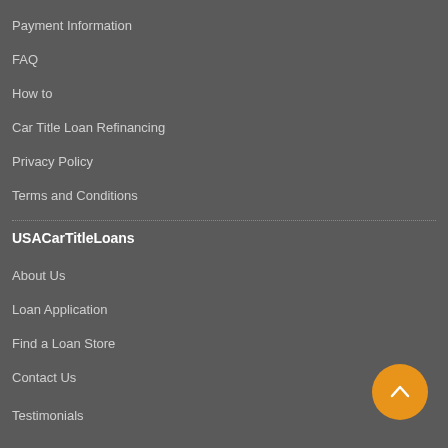Payment Information
FAQ
How to
Car Title Loan Refinancing
Privacy Policy
Terms and Conditions
USACarTitleLoans
About Us
Loan Application
Find a Loan Store
Contact Us
Testimonials